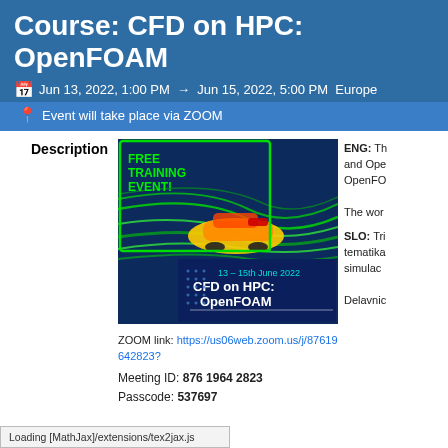Course: CFD on HPC: OpenFOAM
Jun 13, 2022, 1:00 PM → Jun 15, 2022, 5:00 PM Europe
Event will take place via ZOOM
Description
[Figure (illustration): CFD on HPC: OpenFOAM promotional image showing a racing car with aerodynamic flow visualization, text: FREE TRAINING EVENT!, 13 – 15th June 2022, CFD on HPC: OpenFOAM]
ZOOM link: https://us06web.zoom.us/j/87619642823?
Meeting ID: 876 1964 2823
Passcode: 537697
ENG: Th and Ope OpenFO The wor
SLO: Tri tematika simulac Delavnic
Loading [MathJax]/extensions/tex2jax.js